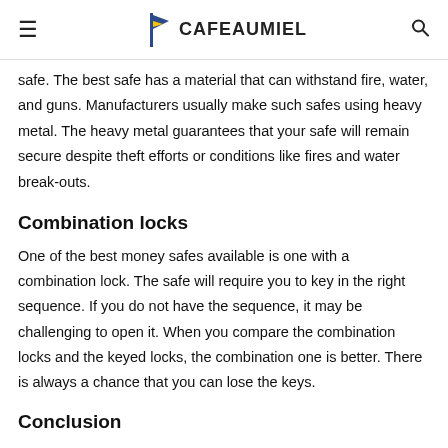CAFEAUMIEL
safe. The best safe has a material that can withstand fire, water, and guns. Manufacturers usually make such safes using heavy metal. The heavy metal guarantees that your safe will remain secure despite theft efforts or conditions like fires and water break-outs.
Combination locks
One of the best money safes available is one with a combination lock. The safe will require you to key in the right sequence. If you do not have the sequence, it may be challenging to open it. When you compare the combination locks and the keyed locks, the combination one is better. There is always a chance that you can lose the keys.
Conclusion